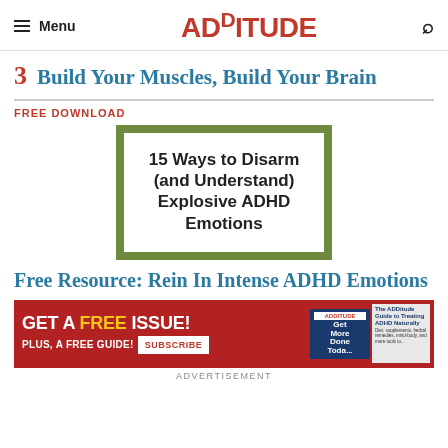Menu | ADDitude
3 Build Your Muscles, Build Your Brain
FREE DOWNLOAD
[Figure (illustration): Book cover graphic with green border and white interior reading: 15 Ways to Disarm (and Understand) Explosive ADHD Emotions]
Free Resource: Rein In Intense ADHD Emotions
[Figure (infographic): Advertisement banner: GET A FREE ISSUE! PLUS, A FREE GUIDE! SUBSCRIBE — with ADDitude magazine covers shown]
ADVERTISEMENT